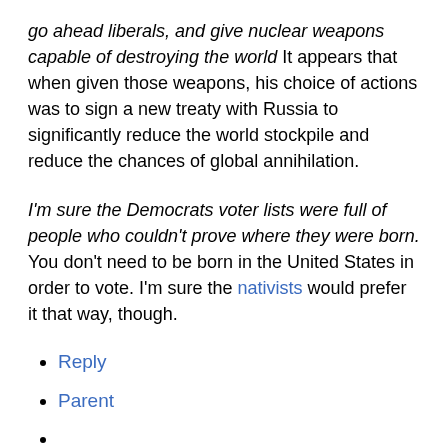go ahead liberals, and give nuclear weapons capable of destroying the world It appears that when given those weapons, his choice of actions was to sign a new treaty with Russia to significantly reduce the world stockpile and reduce the chances of global annihilation.
I'm sure the Democrats voter lists were full of people who couldn't prove where they were born. You don't need to be born in the United States in order to vote. I'm sure the nativists would prefer it that way, though.
Reply
Parent
History
Edit This Page